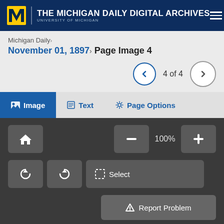THE MICHIGAN DAILY DIGITAL ARCHIVES — UNIVERSITY OF MICHIGAN
Michigan Daily›
November 01, 1897› Page Image 4
4 of 4
Image   Text   Page Options
100%
Select
Report Problem